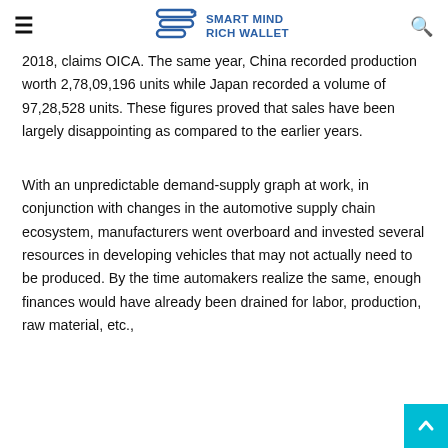SMART MIND RICH WALLET
2018, claims OICA. The same year, China recorded production worth 2,78,09,196 units while Japan recorded a volume of 97,28,528 units. These figures proved that sales have been largely disappointing as compared to the earlier years.
With an unpredictable demand-supply graph at work, in conjunction with changes in the automotive supply chain ecosystem, manufacturers went overboard and invested several resources in developing vehicles that may not actually need to be produced. By the time automakers realize the same, enough finances would have already been drained for labor, production, raw material, etc.,